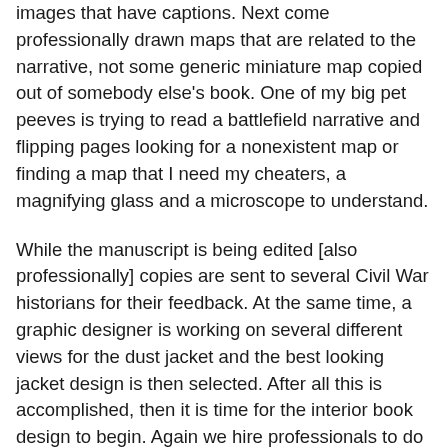images that have captions. Next come professionally drawn maps that are related to the narrative, not some generic miniature map copied out of somebody else's book. One of my big pet peeves is trying to read a battlefield narrative and flipping pages looking for a nonexistent map or finding a map that I need my cheaters, a magnifying glass and a microscope to understand.
While the manuscript is being edited [also professionally] copies are sent to several Civil War historians for their feedback. At the same time, a graphic designer is working on several different views for the dust jacket and the best looking jacket design is then selected. After all this is accomplished, then it is time for the interior book design to begin. Again we hire professionals to do this. You ever see a book with screwy looking font